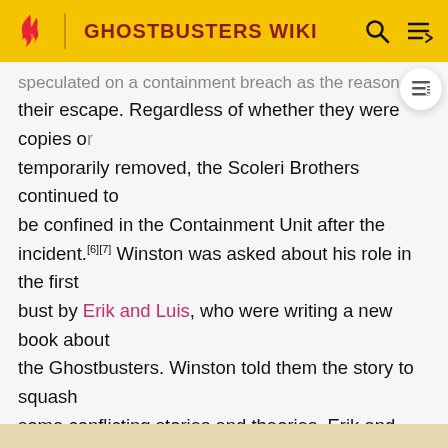GHOSTBUSTERS WIKI
speculated on a containment breach as the reason for their escape. Regardless of whether they were copies or temporarily removed, the Scoleri Brothers continued to be confined in the Containment Unit after the incident.[6][7] Winston was asked about his role in the first bust by Erik and Luis, who were writing a new book about the Ghostbusters. Winston told them the story to squash some conflicting stories and theories. Erik and Luis were stunned that's all that happened. Winston told them not every case was flashy.
Description
Tony Scoleri